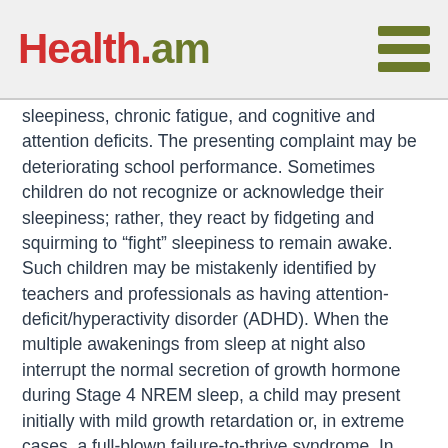Health.am
sleepiness, chronic fatigue, and cognitive and attention deficits. The presenting complaint may be deteriorating school performance. Sometimes children do not recognize or acknowledge their sleepiness; rather, they react by fidgeting and squirming to “fight” sleepiness to remain awake. Such children may be mistakenly identified by teachers and professionals as having attention-deficit/hyperactivity disorder (ADHD). When the multiple awakenings from sleep at night also interrupt the normal secretion of growth hormone during Stage 4 NREM sleep, a child may present initially with mild growth retardation or, in extreme cases, a full-blown failure-to-thrive syndrome. In other words, all children who present with ADHD or a failure-to-thrive syndrome should be evaluated for possible obstructive sleep apnea syndrome.
Sleep apnea must be investigated by polysomnography in a sleep laboratory. Only this technique provides an accurate description of the type of apnea episode and its association with REM or NREM sleep. The degree of oxygen